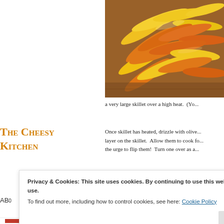[Figure (photo): Close-up photo of sliced orange and yellow bell peppers piled on a wooden surface]
a very large skillet over a high heat.  (Yo...
The Cheesy Kitchen
Once skillet has heated, drizzle with olive... layer on the skillet.  Allow them to cook fo... the urge to flip them!  Turn one over as a... the... ed,
AB0
Privacy & Cookies: This site uses cookies. By continuing to use this website, you agree to their use.
To find out more, including how to control cookies, see here: Cookie Policy
Close and accept